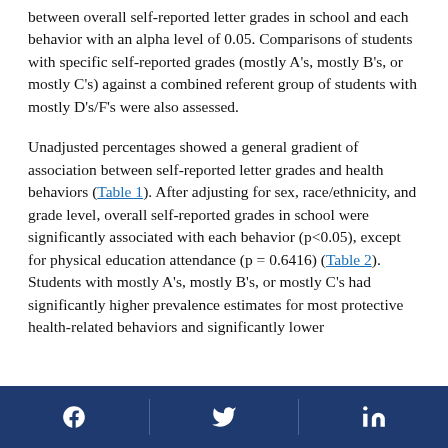between overall self-reported letter grades in school and each behavior with an alpha level of 0.05. Comparisons of students with specific self-reported grades (mostly A's, mostly B's, or mostly C's) against a combined referent group of students with mostly D's/F's were also assessed.
Unadjusted percentages showed a general gradient of association between self-reported letter grades and health behaviors (Table 1). After adjusting for sex, race/ethnicity, and grade level, overall self-reported grades in school were significantly associated with each behavior (p<0.05), except for physical education attendance (p = 0.6416) (Table 2). Students with mostly A's, mostly B's, or mostly C's had significantly higher prevalence estimates for most protective health-related behaviors and significantly lower
Facebook | Twitter | LinkedIn